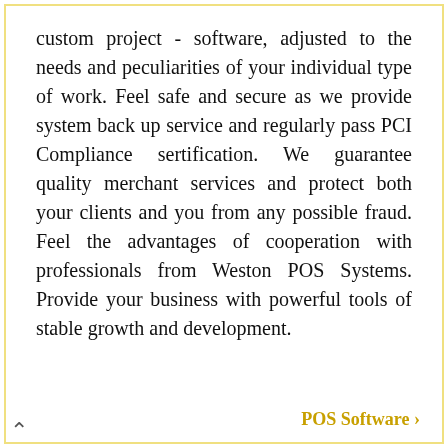custom project - software, adjusted to the needs and peculiarities of your individual type of work. Feel safe and secure as we provide system back up service and regularly pass PCI Compliance sertification. We guarantee quality merchant services and protect both your clients and you from any possible fraud. Feel the advantages of cooperation with professionals from Weston POS Systems. Provide your business with powerful tools of stable growth and development.
POS Software >